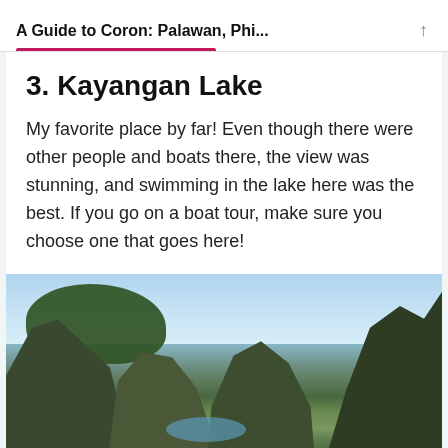A Guide to Coron: Palawan, Phi...
3. Kayangan Lake
My favorite place by far! Even though there were other people and boats there, the view was stunning, and swimming in the lake here was the best. If you go on a boat tour, make sure you choose one that goes here!
[Figure (photo): Scenic view of Kayangan Lake area showing dramatic limestone karst rock formations covered in green vegetation, with blue sky and clouds above, trees in the foreground, and a glimpse of the lake water between the rocks.]